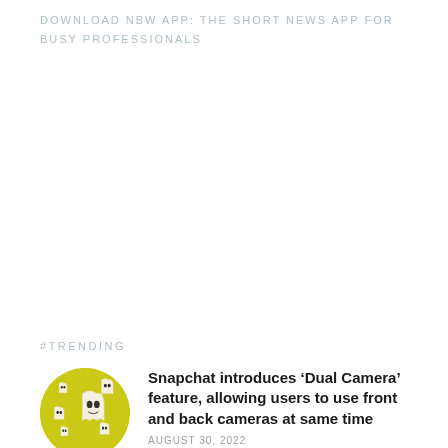DOWNLOAD NBW APP: THE SHORT NEWS APP FOR BUSY PROFESSIONALS
#TRENDING
[Figure (illustration): Circular yellow badge with Snapchat ghost logos/icons scattered on it]
Snapchat introduces ‘Dual Camera’ feature, allowing users to use front and back cameras at same time
AUGUST 30, 2022